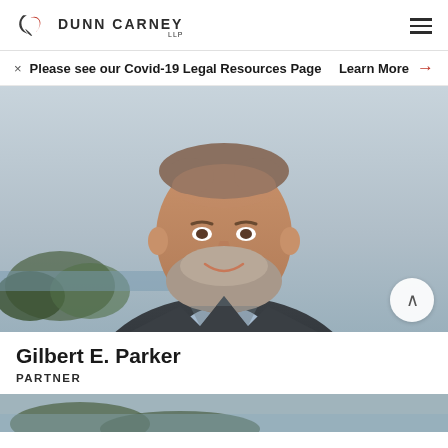Dunn Carney LLP
× Please see our Covid-19 Legal Resources Page  Learn More →
[Figure (photo): Professional headshot of Gilbert E. Parker, a middle-aged man with grey-brown beard wearing a dark blazer and light blue shirt, smiling, with blurred outdoor background]
Gilbert E. Parker
PARTNER
[Figure (photo): Partial photo strip at the bottom of the page, showing an outdoor scene]